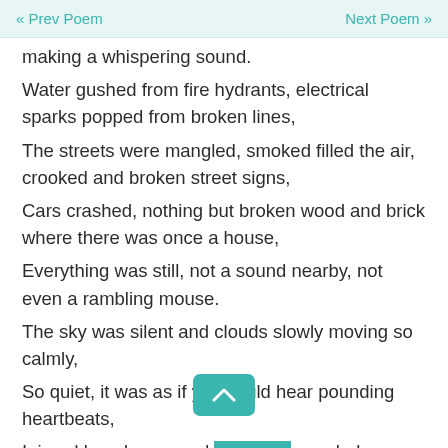« Prev Poem    Next Poem »
making a whispering sound.
Water gushed from fire hydrants, electrical sparks popped from broken lines,
The streets were mangled, smoked filled the air, crooked and broken street signs,
Cars crashed, nothing but broken wood and brick where there was once a house,
Everything was still, not a sound nearby, not even a rambling mouse.
The sky was silent and clouds slowly moving so calmly,
So quiet, it was as if you could hear pounding heartbeats,
Injured loved ones and strangers, so shaken up and scared,